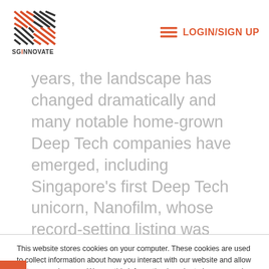SGInnovate — LOGIN/SIGN UP
years, the landscape has changed dramatically and many notable home-grown Deep Tech companies have emerged, including Singapore's first Deep Tech unicorn, Nanofilm, whose record-setting listing was Singapore's biggest in recent years. As a further indication of confidence in this growing
This website stores cookies on your computer. These cookies are used to collect information about how you interact with our website and allow us to remember you. We use this information in order to improve and customise your browsing experience and for analytics and metrics about our visitors both on this website and other media. To find out more about the cookies we use, see our Privacy Policy.
Accept